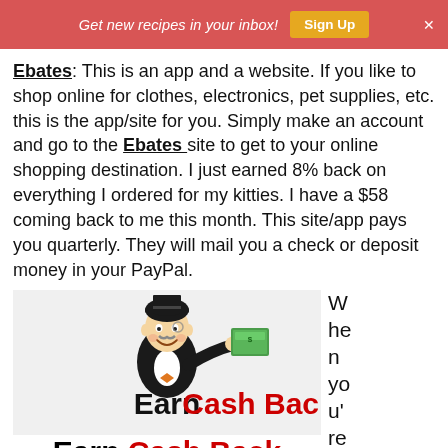Get new recipes in your inbox! Sign Up ×
Ebates: This is an app and a website. If you like to shop online for clothes, electronics, pet supplies, etc. this is the app/site for you. Simply make an account and go to the Ebates site to get to your online shopping destination. I just earned 8% back on everything I ordered for my kitties. I have a $58 coming back to me this month. This site/app pays you quarterly. They will mail you a check or deposit money in your PayPal.
[Figure (illustration): Monopoly man cartoon character holding a stack of cash with 'Earn Cash Back' text below in black and red]
When you're ready